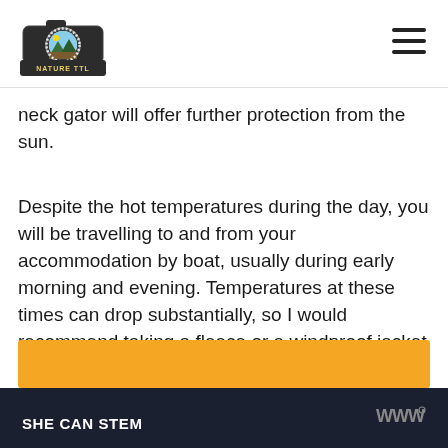[Figure (logo): Nature TTL logo — camera icon with mountain/landscape scene inside lens, text 'NATURE TTL' on banner below]
neck gator will offer further protection from the sun.
Despite the hot temperatures during the day, you will be travelling to and from your accommodation by boat, usually during early morning and evening. Temperatures at these times can drop substantially, so I would recommend taking a fleece or a windproof jacket and a beanie, to keep you warm on those chilly boat rides.
SHE CAN STEM